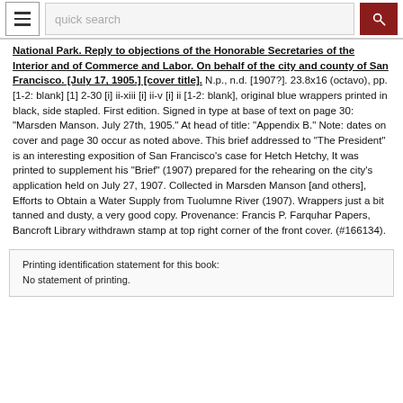quick search
National Park. Reply to objections of the Honorable Secretaries of the Interior and of Commerce and Labor. On behalf of the city and county of San Francisco. [July 17, 1905.] [cover title]. N.p., n.d. [1907?]. 23.8x16 (octavo), pp. [1-2: blank] [1] 2-30 [i] ii-xiii [i] ii-v [i] ii [1-2: blank], original blue wrappers printed in black, side stapled. First edition. Signed in type at base of text on page 30: "Marsden Manson. July 27th, 1905." At head of title: "Appendix B." Note: dates on cover and page 30 occur as noted above. This brief addressed to "The President" is an interesting exposition of San Francisco's case for Hetch Hetchy, It was printed to supplement his "Brief" (1907) prepared for the rehearing on the city's application held on July 27, 1907. Collected in Marsden Manson [and others], Efforts to Obtain a Water Supply from Tuolumne River (1907). Wrappers just a bit tanned and dusty, a very good copy. Provenance: Francis P. Farquhar Papers, Bancroft Library withdrawn stamp at top right corner of the front cover. (#166134).
Printing identification statement for this book:
No statement of printing.